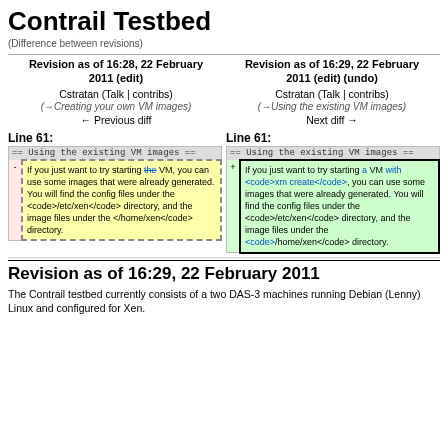Contrail Testbed
(Difference between revisions)
| Left Revision | Right Revision |
| --- | --- |
| Revision as of 16:28, 22 February 2011 (edit)
Cstratan (Talk | contribs)
(→Creating your own VM images)
← Previous diff | Revision as of 16:29, 22 February 2011 (edit) (undo)
Cstratan (Talk | contribs)
(→Using the existing VM images)
Next diff → |
| Line 61: | Line 61: |
| --- | --- |
| == Using the existing VM images == | == Using the existing VM images == |
| -  If you just want to try starting the VM, you can use some images that were already generated. You will find the config files under the <code>/etc/xen</code> directory, and the image files under the </home/xen</code> directory. | +  If you just want to try starting a VM with <code>xm create</code>, you can use some images that were already generated. You will find the config files under the <code>/etc/xen</code> directory, and the image files under the <code>/home/xen</code> directory. |
Revision as of 16:29, 22 February 2011
The Contrail testbed currently consists of a two DAS-3 machines running Debian (Lenny) Linux and configured for Xen.